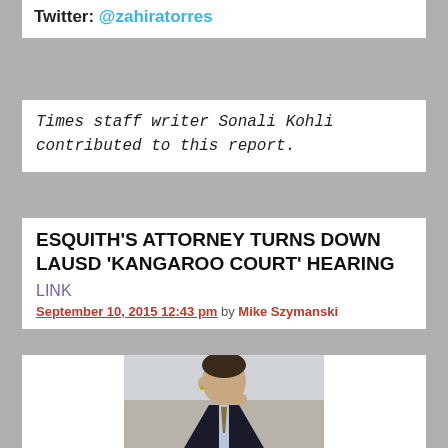Twitter: @zahiratorres
Times staff writer Sonali Kohli contributed to this report.
ESQUITH'S ATTORNEY TURNS DOWN LAUSD 'KANGAROO COURT' HEARING
LINK
September 10, 2015 12:43 pm by Mike Szymanski
[Figure (photo): Photo of a man in a dark suit with a light blue shirt and tie, touching his lip with one finger, photographed outdoors]